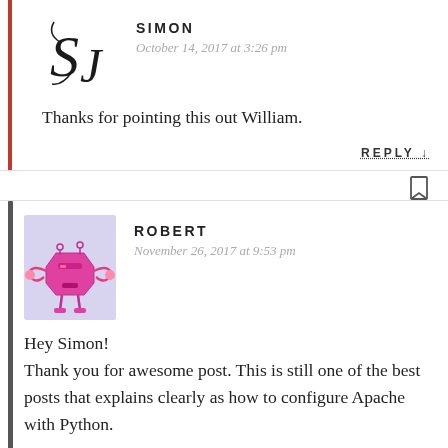[Figure (illustration): Avatar image with stylized 'SJ' initials in script font]
SIMON
October 14, 2017 at 3:26 pm
Thanks for pointing this out William.
REPLY ↓
[Figure (illustration): Robot/crab cartoon avatar with pink/magenta body on lavender background]
ROBERT
November 26, 2017 at 9:53 pm
Hey Simon!
Thank you for awesome post. This is still one of the best posts that explains clearly as how to configure Apache with Python.

I am facing one of the issues and was thinking if you can help me.

I am running my flask app using Apache 2.4 on